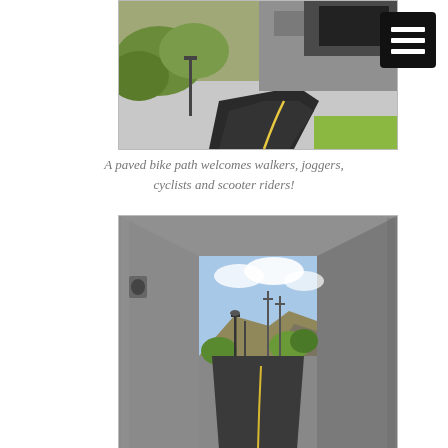[Figure (photo): A paved winding bike path flanked by rocks, greenery, and a tunnel underpass in the background, viewed from above on the path.]
A paved bike path welcomes walkers, joggers, cyclists and scooter riders!
[Figure (photo): View through a concrete underpass tunnel looking out onto a winding paved bike path with lamp posts, rocks, and trees under a partly cloudy sky.]